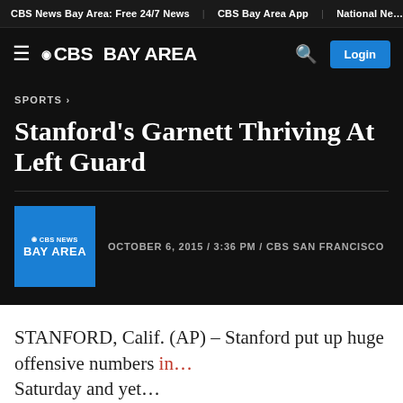CBS News Bay Area: Free 24/7 News | CBS Bay Area App | National Ne...
[Figure (logo): CBS Bay Area logo with hamburger menu, search icon, and Login button]
SPORTS >
Stanford's Garnett Thriving At Left Guard
OCTOBER 6, 2015 / 3:36 PM / CBS SAN FRANCISCO
[Figure (logo): CBS News Bay Area blue thumbnail logo]
STANFORD, Calif. (AP) – Stanford put up huge offensive numbers in... Saturday and yet...
FIRST ALERT WEATHER DAY: